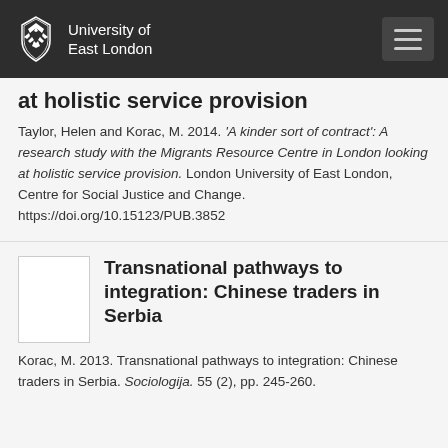University of East London
at holistic service provision
Taylor, Helen and Korac, M. 2014. 'A kinder sort of contract': A research study with the Migrants Resource Centre in London looking at holistic service provision. London University of East London, Centre for Social Justice and Change. https://doi.org/10.15123/PUB.3852
[Figure (other): Thumbnail placeholder for second item]
Transnational pathways to integration: Chinese traders in Serbia
Korac, M. 2013. Transnational pathways to integration: Chinese traders in Serbia. Sociologija. 55 (2), pp. 245-260.